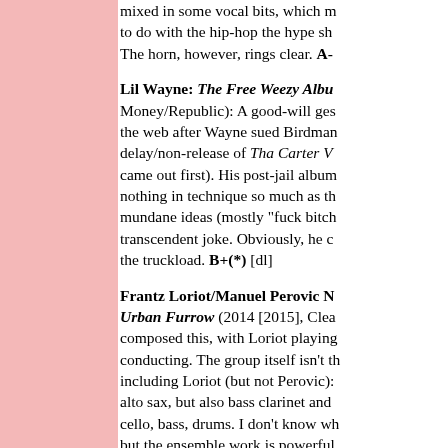mixed in some vocal bits, which m… to do with the hip-hop the hype sh… The horn, however, rings clear. A-
Lil Wayne: The Free Weezy Albu… Money/Republic): A good-will ges… the web after Wayne sued Birdman… delay/non-release of Tha Carter V… came out first). His post-jail album… nothing in technique so much as th… mundane ideas (mostly "fuck bitch… transcendent joke. Obviously, he c… the truckload. B+(*) [dl]
Frantz Loriot/Manuel Perovic N… Urban Furrow (2014 [2015], Clea… composed this, with Loriot playing… conducting. The group itself isn't th… including Loriot (but not Perovic):… alto sax, but also bass clarinet and… cello, bass, drums. I don't know wh… but the ensemble work is powerful
Shai Maestro Trio: Untold Storie… Israeli pianist, third album, recorded… backed by Jorge Roeder (bass) and…